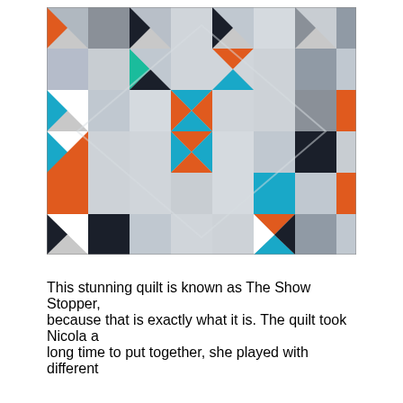[Figure (photo): A colorful geometric quilt known as The Show Stopper, featuring a star pattern in the center made of orange and teal/cyan triangles, surrounded by pinwheel blocks in gray, white, black, teal, and orange fabrics arranged in a symmetrical pattern.]
This stunning quilt is known as The Show Stopper, because that is exactly what it is. The quilt took Nicola a long time to put together, she played with different